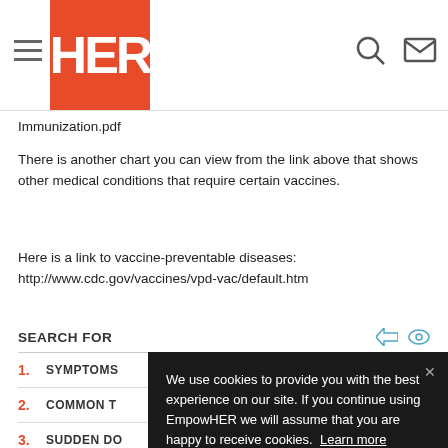HER
Immunization.pdf
There is another chart you can view from the link above that shows other medical conditions that require certain vaccines.
Here is a link to vaccine-preventable diseases: http://www.cdc.gov/vaccines/vpd-vac/default.htm
SEARCH FOR
1. SYMPTOMS
2. COMMON T
3. SUDDEN DO
4. SARCOIDOSIS LUNG CANCER
We use cookies to provide you with the best experience on our site. If you continue using EmpowHER we will assume that you are happy to receive cookies.  Learn more  Got it!